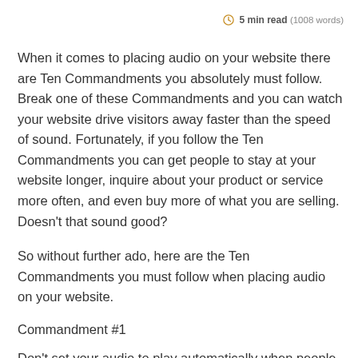5 min read (1008 words)
When it comes to placing audio on your website there are Ten Commandments you absolutely must follow. Break one of these Commandments and you can watch your website drive visitors away faster than the speed of sound. Fortunately, if you follow the Ten Commandments you can get people to stay at your website longer, inquire about your product or service more often, and even buy more of what you are selling. Doesn't that sound good?
So without further ado, here are the Ten Commandments you must follow when placing audio on your website.
Commandment #1
Don't set your audio to play automatically when people arrive at your website. Your visitors all have different computers with